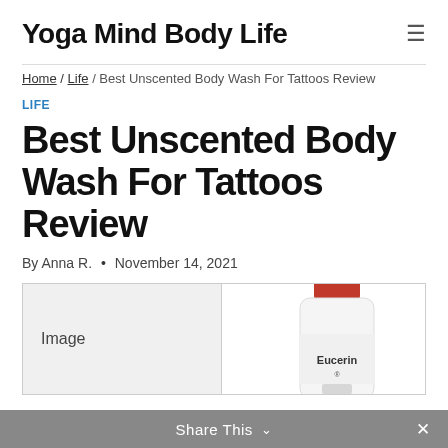Yoga Mind Body Life
Home / Life / Best Unscented Body Wash For Tattoos Review
LIFE
Best Unscented Body Wash For Tattoos Review
By Anna R. • November 14, 2021
| Image |  |
| --- | --- |
| Image | [Eucerin bottle product image] |
Share This